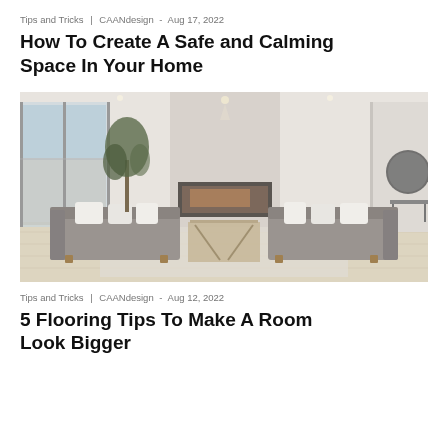Tips and Tricks | CAANdesign - Aug 17, 2022
How To Create A Safe and Calming Space In Your Home
[Figure (photo): Minimalist living room with two gray sofas facing each other, a fireplace in the center, sliding glass doors on the left, and light wood flooring.]
Tips and Tricks | CAANdesign - Aug 12, 2022
5 Flooring Tips To Make A Room Look Bigger